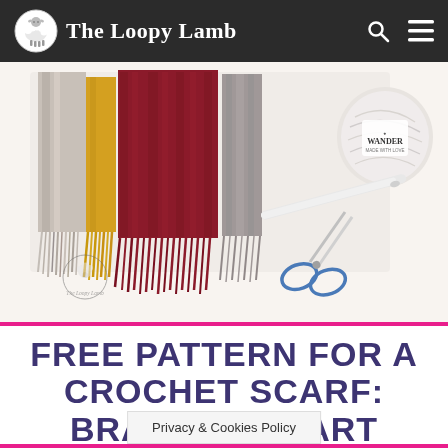The Loopy Lamb
[Figure (photo): A colorful crochet scarf with fringe in dark red/burgundy, yellow/gold, and gray/white stripes, laid flat on a white surface alongside a ball of light gray yarn labeled 'Wander', a white crochet hook, and blue-handled scissors. The Loopy Lamb logo watermark appears in the lower left.]
FREE PATTERN FOR A CROCHET SCARF: BRAVE AT HEART SCARF
Privacy & Cookies Policy